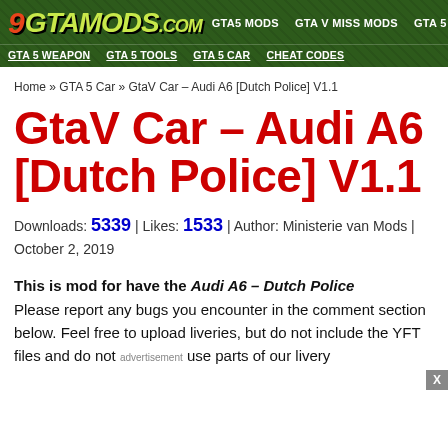GTA5 MODS | GTA V MISSION MODS | GTA 5 MAPS | PAINT JOB MODS | 9GTAMods.com | GTA 5 WEAPON | GTA 5 TOOLS | GTA 5 CAR | CHEAT CODES
Home » GTA 5 Car » GtaV Car – Audi A6 [Dutch Police] V1.1
GtaV Car – Audi A6 [Dutch Police] V1.1
Downloads: 5339 | Likes: 1533 | Author: Ministerie van Mods | October 2, 2019
This is mod for have the Audi A6 – Dutch Police Please report any bugs you encounter in the comment section below. Feel free to upload liveries, but do not include the YFT files and do not use parts of our livery